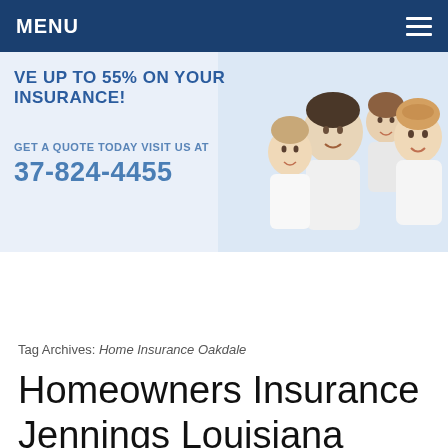MENU
[Figure (infographic): Insurance banner with family photo and text: SAVE UP TO 55% ON YOUR INSURANCE! GET A QUOTE TODAY VISIT US AT 37-824-4455]
Tag Archives: Home Insurance Oakdale
Homeowners Insurance Jennings Louisiana